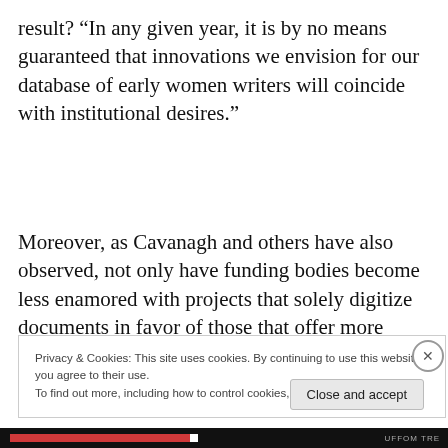result? “In any given year, it is by no means guaranteed that innovations we envision for our database of early women writers will coincide with institutional desires.”
Moreover, as Cavanagh and others have also observed, not only have funding bodies become less enamored with projects that solely digitize documents in favor of those that offer more cutting-edge technology, but grant
Privacy & Cookies: This site uses cookies. By continuing to use this website, you agree to their use.
To find out more, including how to control cookies, see here: Cookie Policy
Close and accept